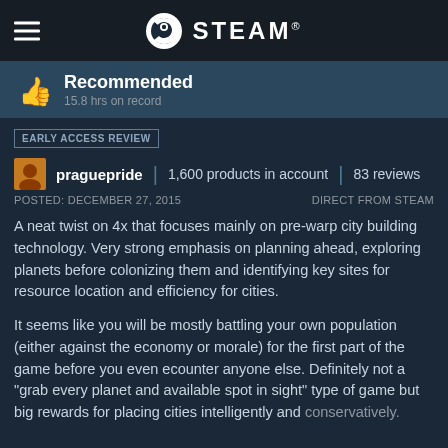STEAM®
Recommended
15.8 hrs on record
EARLY ACCESS REVIEW
praguepride | 1,600 products in account | 83 reviews
POSTED: DECEMBER 27, 2015    DIRECT FROM STEAM
A neat twist on 4x that focuses mainly on pre-warp city building technology. Very strong emphasis on planning ahead, exploring planets before colonizing them and identifying key sites for resource location and efficiency for cities.
It seems like you will be mostly battling your own population (either against the economy or morale) for the first part of the game before you even ecounter anyone else. Definitely not a "grab every planet and available spot in sight" type of game but big rewards for placing cities intelligently and conservatively.